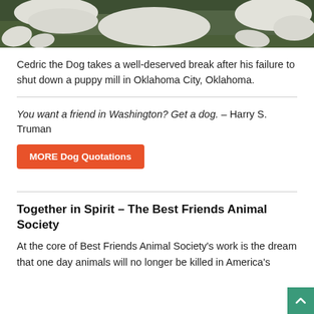[Figure (photo): Photo of a white dog (Cedric) resting on grass, seen from above — paws and body visible against green and brown ground cover.]
Cedric the Dog takes a well-deserved break after his failure to shut down a puppy mill in Oklahoma City, Oklahoma.
You want a friend in Washington? Get a dog. – Harry S. Truman
MORE Dog Quotations
Together in Spirit – The Best Friends Animal Society
At the core of Best Friends Animal Society's work is the dream that one day animals will no longer be killed in America's